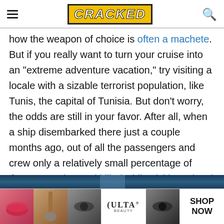CRACKED (logo with hamburger menu and search icon)
how the weapon of choice is often a machete. But if you really want to turn your cruise into an "extreme adventure vacation," try visiting a locale with a sizable terrorist population, like Tunis, the capital of Tunisia. But don't worry, the odds are still in your favor. After all, when a ship disembarked there just a couple months ago, out of all the passengers and crew only a relatively small percentage of them were shot and killed while visiting a local museum.
[Figure (photo): Dark blue/teal image strip at bottom of article, partially visible]
[Figure (photo): ULTA beauty advertisement banner with beauty product images and 'SHOP NOW' text]